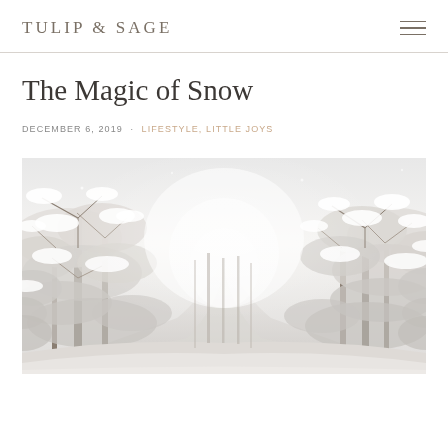TULIP & SAGE
The Magic of Snow
DECEMBER 6, 2019 · LIFESTYLE, LITTLE JOYS
[Figure (photo): Snow-covered winter forest with trees laden with white snow, a misty path receding into the background, bright white and grey tones.]